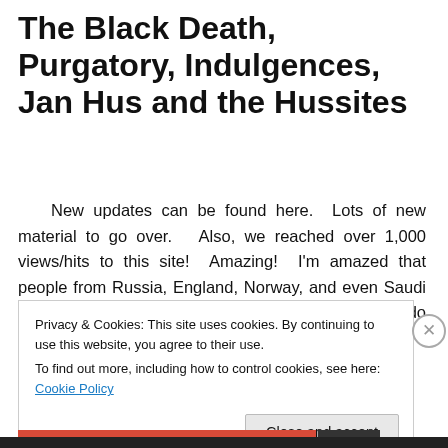The Black Death, Purgatory, Indulgences, Jan Hus and the Hussites
New updates can be found here.  Lots of new material to go over.   Also, we reached over 1,000 views/hits to this site!  Amazing!  I'm amazed that people from Russia, England, Norway, and even Saudi Arabia have been checking out this site.  I really do hope … Continue reading →
Privacy & Cookies: This site uses cookies. By continuing to use this website, you agree to their use.
To find out more, including how to control cookies, see here: Cookie Policy
Close and accept